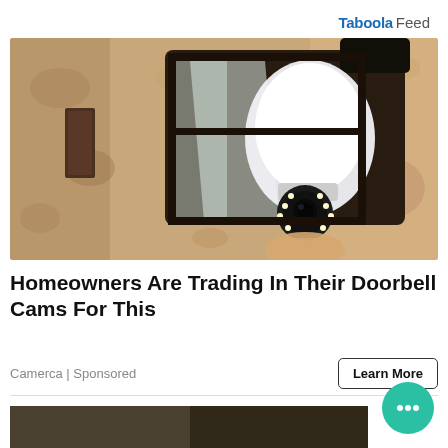Taboola Feed
[Figure (photo): A security camera disguised as a light bulb being installed into an outdoor wall lantern fixture on a textured stucco wall.]
Homeowners Are Trading In Their Doorbell Cams For This
Camerca | Sponsored
Learn More
[Figure (photo): Partial bottom preview of another advertisement image.]